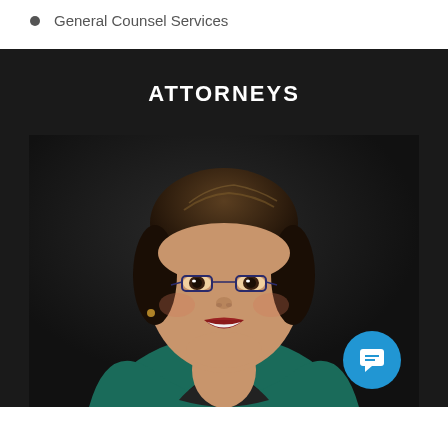General Counsel Services
ATTORNEYS
[Figure (photo): Professional headshot of a smiling woman with short dark hair and glasses, wearing a teal top, photographed against a dark background.]